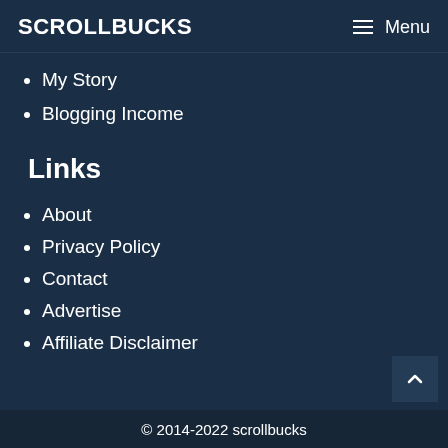SCROLLBUCKS  ☰ Menu
My Story
Blogging Income
Links
About
Privacy Policy
Contact
Advertise
Affiliate Disclaimer
© 2014-2022 scrollbucks